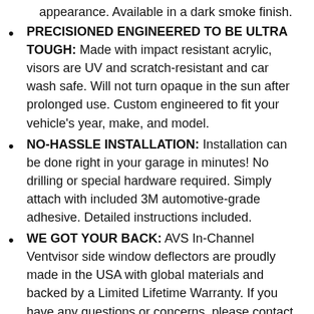appearance. Available in a dark smoke finish.
PRECISIONED ENGINEERED TO BE ULTRA TOUGH: Made with impact resistant acrylic, visors are UV and scratch-resistant and car wash safe. Will not turn opaque in the sun after prolonged use. Custom engineered to fit your vehicle’s year, make, and model.
NO-HASSLE INSTALLATION: Installation can be done right in your garage in minutes! No drilling or special hardware required. Simply attach with included 3M automotive-grade adhesive. Detailed instructions included.
WE GOT YOUR BACK: AVS In-Channel Ventvisor side window deflectors are proudly made in the USA with global materials and backed by a Limited Lifetime Warranty. If you have any questions or concerns, please contact our dedicated customer service team.
Installation varies by part number. Please select